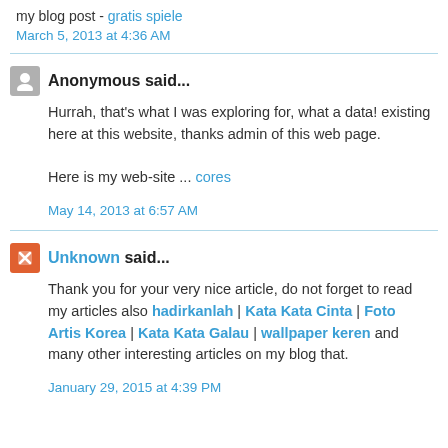my blog post - gratis spiele
March 5, 2013 at 4:36 AM
Anonymous said...
Hurrah, that's what I was exploring for, what a data! existing here at this website, thanks admin of this web page.
Here is my web-site ... cores
May 14, 2013 at 6:57 AM
Unknown said...
Thank you for your very nice article, do not forget to read my articles also hadirkanlah | Kata Kata Cinta | Foto Artis Korea | Kata Kata Galau | wallpaper keren and many other interesting articles on my blog that.
January 29, 2015 at 4:39 PM